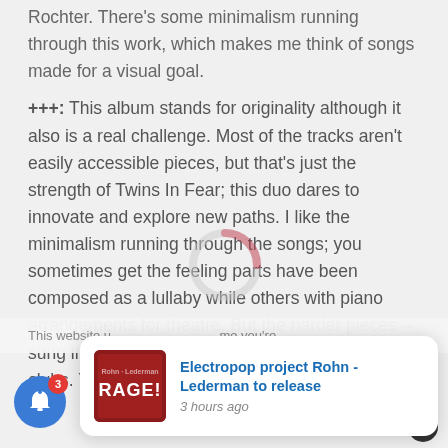Rochter. There's some minimalism running through this work, which makes me think of songs made for a visual goal.
+++: This album stands for originality although it also is a real challenge. Most of the tracks aren't easily accessible pieces, but that's just the strength of Twins In Fear; this duo dares to innovate and explore new paths. I like the minimalism running through the songs; you sometimes get the feeling parts have been composed as a lullaby while others with piano arrangements for theatre. But the harder pieces –sung in English, have the power to entertain the clubs. You also can feel drama and
This website u...
[Figure (screenshot): Notification popup showing 'Electropop project Rohn - Lederman to release' with a red RAGE! album cover image, posted 3 hours ago. Blue bell notification button with badge '3' in bottom left.]